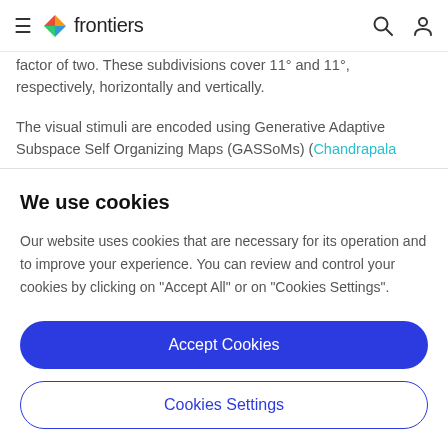frontiers
respectively, horizontally and vertically.
The visual stimuli are encoded using Generative Adaptive Subspace Self Organizing Maps (GASSoms) (Chandrapala
We use cookies
Our website uses cookies that are necessary for its operation and to improve your experience. You can review and control your cookies by clicking on "Accept All" or on "Cookies Settings".
Accept Cookies
Cookies Settings